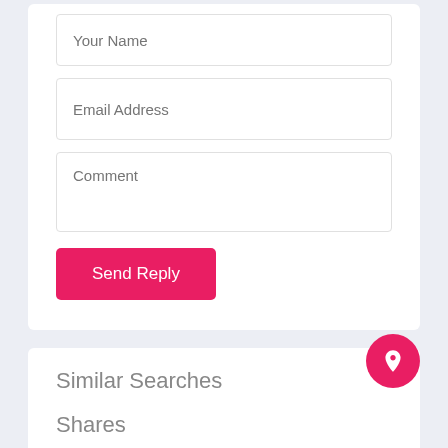[Figure (screenshot): Web form with Your Name, Email Address, and Comment input fields, a pink Send Reply button, a Similar Searches section with tag pills (download app apk, latest collection apk, kurtis apk), a pink FAB button with rocket icon, and a partially visible Shares section header.]